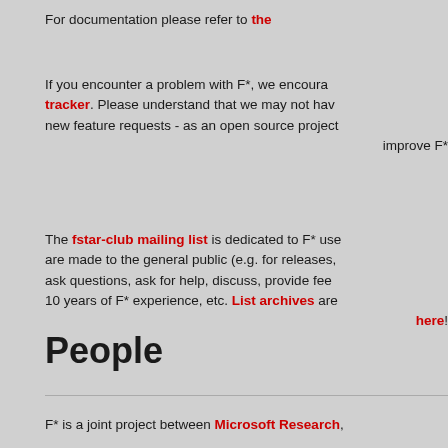For documentation please refer to the
If you encounter a problem with F*, we encourage you to use the issue tracker. Please understand that we may not have time to handle new feature requests - as an open source project, we welcome contributions to improve F*
The fstar-club mailing list is dedicated to F* users. Announcements are made to the general public (e.g. for releases,). Members can ask questions, ask for help, discuss, provide feedback, share their 10 years of F* experience, etc. List archives are here!
People
F* is a joint project between Microsoft Research,